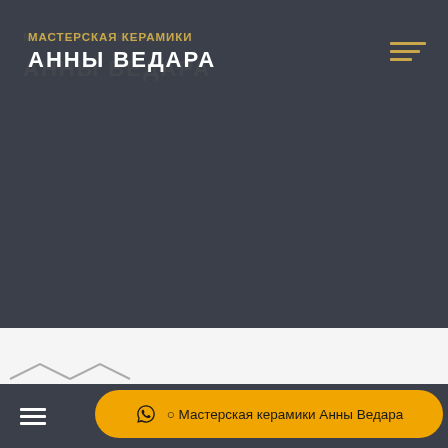МАСТЕРСКАЯ КЕРАМИКИ АННЫ ВЕДАРА
FORUM
[Figure (screenshot): Bottom navigation toolbar with hamburger menu icon on the left and orange WhatsApp button labeled Мастерская керамики Анны Ведара on the right]